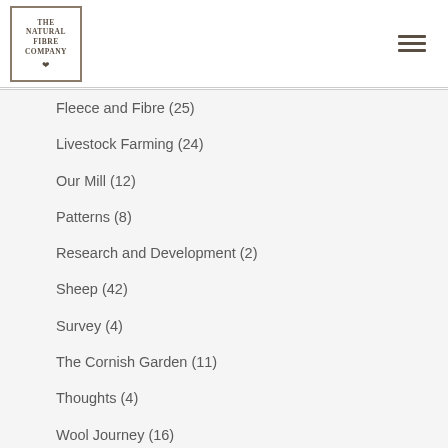The Natural Fibre Company
Fleece and Fibre (25)
Livestock Farming (24)
Our Mill (12)
Patterns (8)
Research and Development (2)
Sheep (42)
Survey (4)
The Cornish Garden (11)
Thoughts (4)
Wool Journey (16)
Yarn Development (28)